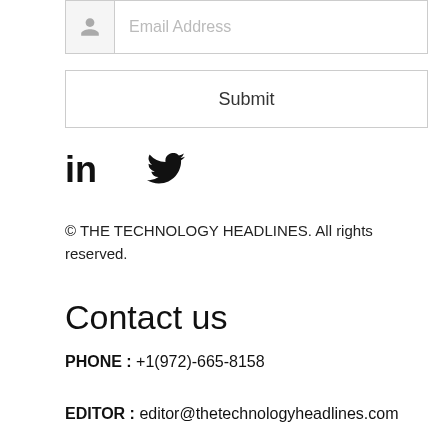[Figure (screenshot): Email address input field with user icon and placeholder text 'Email Address']
Submit
[Figure (other): Social media icons: LinkedIn 'in' logo and Twitter bird icon]
© THE TECHNOLOGY HEADLINES. All rights reserved.
Contact us
PHONE : +1(972)-665-8158
EDITOR : editor@thetechnologyheadlines.com